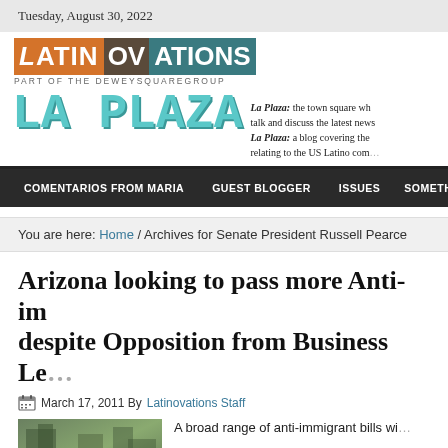Tuesday, August 30, 2022
[Figure (logo): Latinovations logo with colored blocks: orange 'Latin', dark brown 'ov', teal 'ations'. Below: PART OF THE DEWEYSQUAREGROUP. Below that: La Plaza in large teal decorative font.]
La Plaza: the town square wh... talk and discuss the latest news... La Plaza: a blog covering the ... relating to the US Latino com...
COMENTARIOS FROM MARIA   GUEST BLOGGER   ISSUES   SOMETHING SPA...
You are here: Home / Archives for Senate President Russell Pearce
Arizona looking to pass more Anti-im... despite Opposition from Business Le...
March 17, 2011 By Latinovations Staff
A broad range of anti-immigrant bills wi...